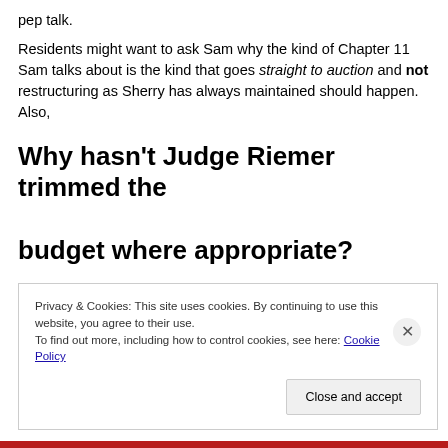pep talk.
Residents might want to ask Sam why the kind of Chapter 11 Sam talks about is the kind that goes straight to auction and not restructuring as Sherry has always maintained should happen.  Also,
Why hasn't Judge Riemer trimmed the budget where appropriate?
Privacy & Cookies: This site uses cookies. By continuing to use this website, you agree to their use.
To find out more, including how to control cookies, see here: Cookie Policy
Close and accept